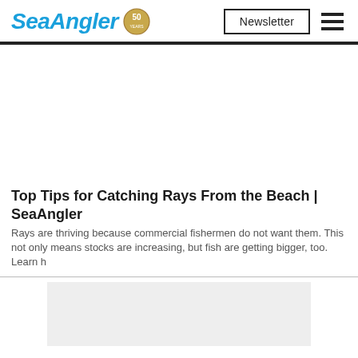SeaAngler 50 | Newsletter
Top Tips for Catching Rays From the Beach | SeaAngler
Rays are thriving because commercial fishermen do not want them. This not only means stocks are increasing, but fish are getting bigger, too. Learn h…
[Figure (other): Advertisement banner placeholder at the bottom of the page, light grey rectangle]